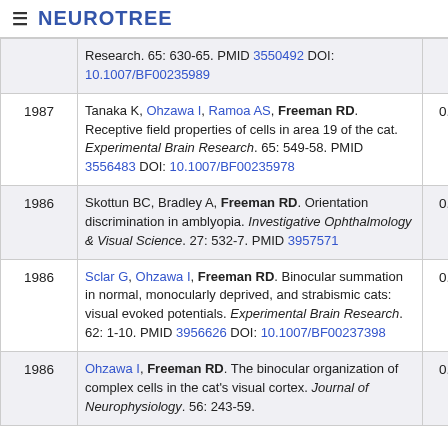≡ NEUROTREE
| Year | Reference | Score |
| --- | --- | --- |
|  | Research. 65: 630-65. PMID 3550492 DOI: 10.1007/BF00235989 |  |
| 1987 | Tanaka K, Ohzawa I, Ramoa AS, Freeman RD. Receptive field properties of cells in area 19 of the cat. Experimental Brain Research. 65: 549-58. PMID 3556483 DOI: 10.1007/BF00235978 | 0.821 |
| 1986 | Skottun BC, Bradley A, Freeman RD. Orientation discrimination in amblyopia. Investigative Ophthalmology & Visual Science. 27: 532-7. PMID 3957571 | 0.322 |
| 1986 | Sclar G, Ohzawa I, Freeman RD. Binocular summation in normal, monocularly deprived, and strabismic cats: visual evoked potentials. Experimental Brain Research. 62: 1-10. PMID 3956626 DOI: 10.1007/BF00237398 | 0.844 |
| 1986 | Ohzawa I, Freeman RD. The binocular organization of complex cells in the cat's visual cortex. Journal of Neurophysiology. 56: 243-59. | 0.788 |